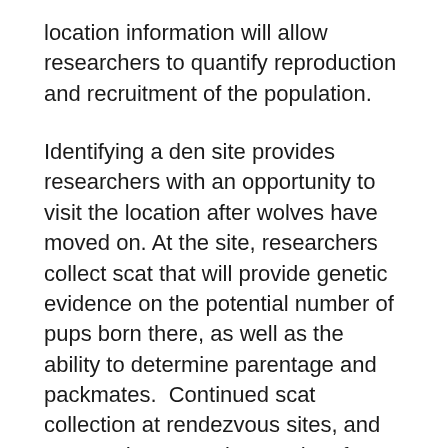location information will allow researchers to quantify reproduction and recruitment of the population.
Identifying a den site provides researchers with an opportunity to visit the location after wolves have moved on. At the site, researchers collect scat that will provide genetic evidence on the potential number of pups born there, as well as the ability to determine parentage and packmates.  Continued scat collection at rendezvous sites, and repeated systematic searches for scat on the park's trails, allows researchers to follow individual wolves through time and further estimate survival and